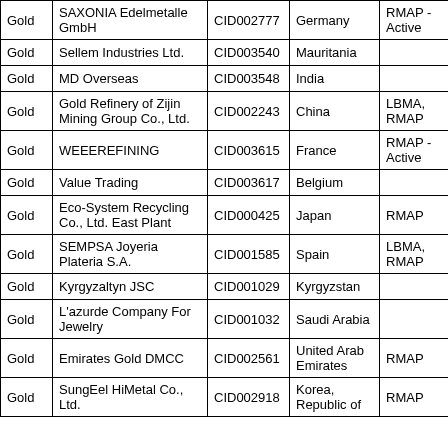| Metal | Smelter Name | Smelter ID | Country | Certification |
| --- | --- | --- | --- | --- |
| Gold | SAXONIA Edelmetalle GmbH | CID002777 | Germany | RMAP - Active |
| Gold | Sellem Industries Ltd. | CID003540 | Mauritania |  |
| Gold | MD Overseas | CID003548 | India |  |
| Gold | Gold Refinery of Zijin Mining Group Co., Ltd. | CID002243 | China | LBMA, RMAP |
| Gold | WEEEREFINING | CID003615 | France | RMAP - Active |
| Gold | Value Trading | CID003617 | Belgium |  |
| Gold | Eco-System Recycling Co., Ltd. East Plant | CID000425 | Japan | RMAP |
| Gold | SEMPSA Joyeria Plateria S.A. | CID001585 | Spain | LBMA, RMAP |
| Gold | Kyrgyzaltyn JSC | CID001029 | Kyrgyzstan |  |
| Gold | L'azurde Company For Jewelry | CID001032 | Saudi Arabia |  |
| Gold | Emirates Gold DMCC | CID002561 | United Arab Emirates | RMAP |
| Gold | SungEel HiMetal Co., Ltd. | CID002918 | Korea, Republic of | RMAP |